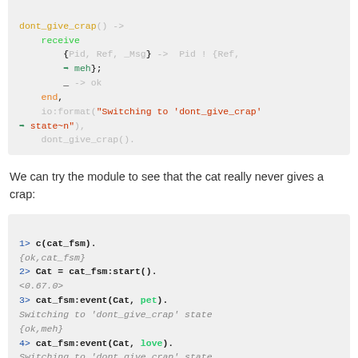[Figure (screenshot): Erlang code block showing dont_give_crap() function with receive block, end, io:format call, and recursive call]
We can try the module to see that the cat really never gives a crap:
[Figure (screenshot): Erlang shell session showing compilation and cat_fsm events: pet, love, cherish all switching to dont_give_crap state with {ok,meh} responses]